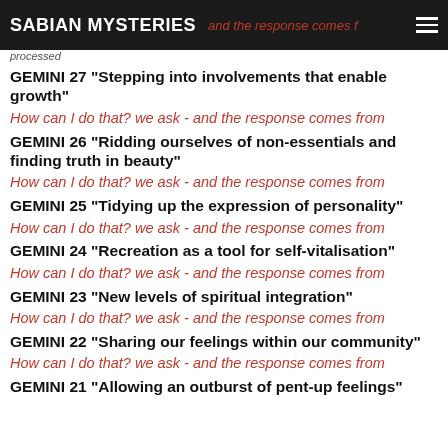SABIAN MYSTERIES | How can I do that? we ask - and the response comes from
processed
GEMINI 27 "Stepping into involvements that enable growth"
How can I do that? we ask - and the response comes from
GEMINI 26 "Ridding ourselves of non-essentials and finding truth in beauty"
How can I do that? we ask - and the response comes from
GEMINI 25  "Tidying up the expression of personality"
How can I do that? we ask - and the response comes from
GEMINI 24 "Recreation as a tool for self-vitalisation"
How can I do that? we ask - and the response comes from
GEMINI 23 "New levels of spiritual integration"
How can I do that? we ask - and the response comes from
GEMINI 22 "Sharing our feelings within our community"
How can I do that? we ask - and the response comes from
GEMINI 21 "Allowing an outburst of pent-up feelings"